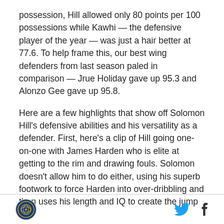possession, Hill allowed only 80 points per 100 possessions while Kawhi — the defensive player of the year — was just a hair better at 77.6. To help frame this, our best wing defenders from last season paled in comparison — Jrue Holiday gave up 95.3 and Alonzo Gee gave up 95.8.
Here are a few highlights that show off Solomon Hill's defensive abilities and his versatility as a defender. First, here's a clip of Hill going one-on-one with James Harden who is elite at getting to the rim and drawing fouls. Solomon doesn't allow him to do either, using his superb footwork to force Harden into over-dribbling and then uses his length and IQ to create the jump ball
[logo] [twitter] [facebook]